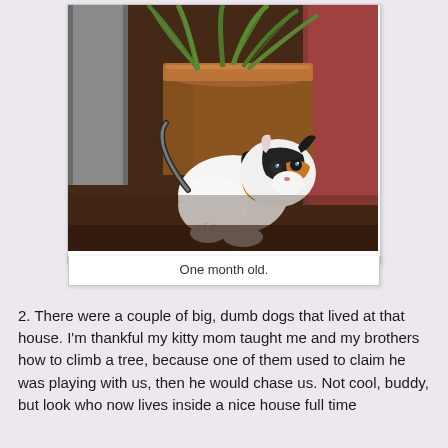[Figure (photo): A small calico kitten (approximately one month old) standing on a dark wooden table in front of a large terracotta/copper pot holding a green plant. The kitten is white with black and orange patches, looking downward.]
One month old.
2. There were a couple of big, dumb dogs that lived at that house. I'm thankful my kitty mom taught me and my brothers how to climb a tree, because one of them used to claim he was playing with us, then he would chase us. Not cool, buddy, but look who now lives inside a nice house full time